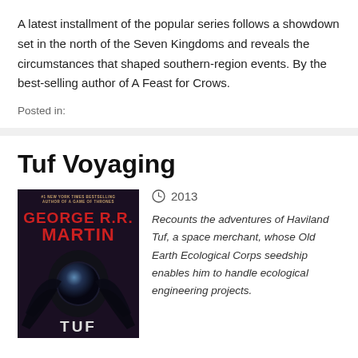A latest installment of the popular series follows a showdown set in the north of the Seven Kingdoms and reveals the circumstances that shaped southern-region events. By the best-selling author of A Feast for Crows.
Posted in:
Tuf Voyaging
[Figure (photo): Book cover of Tuf Voyaging by George R.R. Martin, showing the author's name in red against a dark background with a central orb and bird-like creatures]
2013
Recounts the adventures of Haviland Tuf, a space merchant, whose Old Earth Ecological Corps seedship enables him to handle ecological engineering projects.